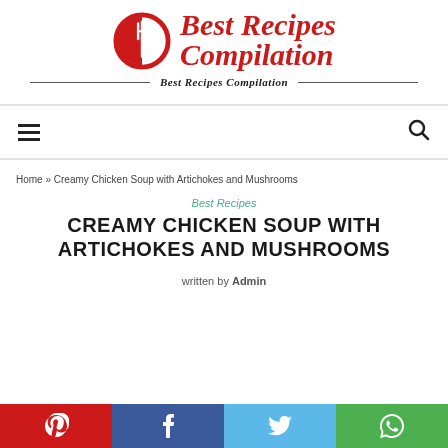[Figure (logo): Best Recipes Compilation logo with red fork-in-circle icon and red italic script text reading 'Best Recipes Compilation']
Best Recipes Compilation
≡  🔍
Home » Creamy Chicken Soup with Artichokes and Mushrooms
Best Recipes
CREAMY CHICKEN SOUP WITH ARTICHOKES AND MUSHROOMS
written by Admin
[Figure (infographic): Social media share buttons row: Pinterest (red), Facebook (blue), Twitter (light blue), WhatsApp (green)]